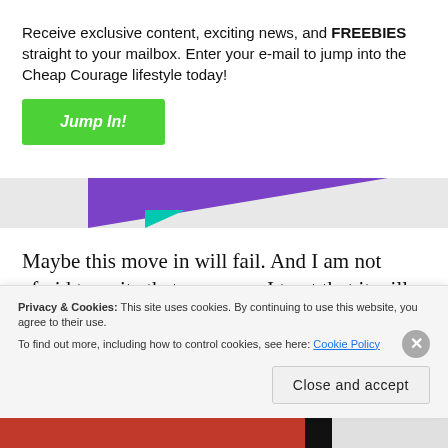Receive exclusive content, exciting news, and FREEBIES straight to your mailbox. Enter your e-mail to jump into the Cheap Courage lifestyle today!
Jump In!
[Figure (illustration): Decorative banner strip with purple triangle shape and teal accent]
Maybe this move in will fail. And I am not afraid to write that anymore. I trust that it will work but I know that if it doesn't, we're going to be ok. The great thing about trying again is knowing you can survive it. Take
Privacy & Cookies: This site uses cookies. By continuing to use this website, you agree to their use. To find out more, including how to control cookies, see here: Cookie Policy
Close and accept